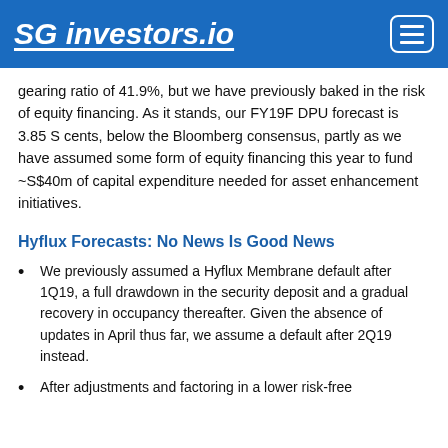SG investors.io
gearing ratio of 41.9%, but we have previously baked in the risk of equity financing. As it stands, our FY19F DPU forecast is 3.85 S cents, below the Bloomberg consensus, partly as we have assumed some form of equity financing this year to fund ~S$40m of capital expenditure needed for asset enhancement initiatives.
Hyflux Forecasts: No News Is Good News
We previously assumed a Hyflux Membrane default after 1Q19, a full drawdown in the security deposit and a gradual recovery in occupancy thereafter. Given the absence of updates in April thus far, we assume a default after 2Q19 instead.
After adjustments and factoring in a lower risk-free